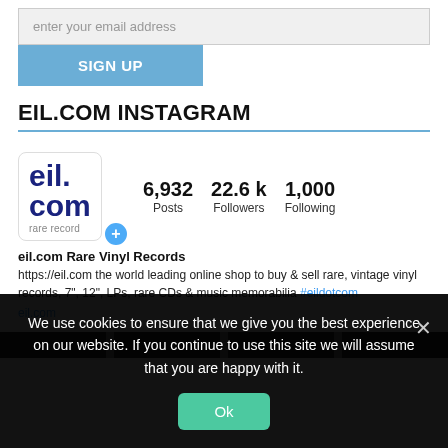[Figure (screenshot): Email input field with placeholder 'enter your email address' and a blue SIGN UP button below]
EIL.COM INSTAGRAM
[Figure (infographic): eil.com Instagram profile showing logo, stats: 6,932 Posts, 22.6 k Followers, 1,000 Following]
eil.com Rare Vinyl Records
https://eil.com the world leading online shop to buy & sell rare, vintage vinyl records, 7", 12", LPs, rare CDs & music memorabilia #eildotcom
eil.com
We use cookies to ensure that we give you the best experience on our website. If you continue to use this site we will assume that you are happy with it.